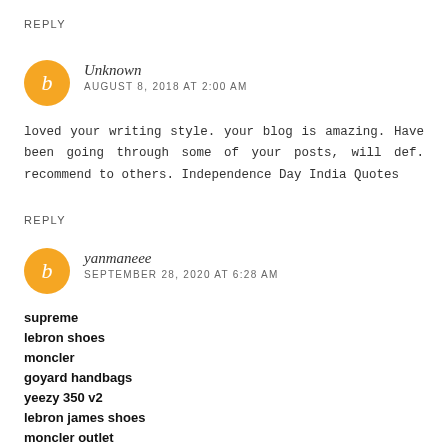REPLY
Unknown
AUGUST 8, 2018 AT 2:00 AM
loved your writing style. your blog is amazing. Have been going through some of your posts, will def. recommend to others. Independence Day India Quotes
REPLY
yanmaneee
SEPTEMBER 28, 2020 AT 6:28 AM
supreme
lebron shoes
moncler
goyard handbags
yeezy 350 v2
lebron james shoes
moncler outlet